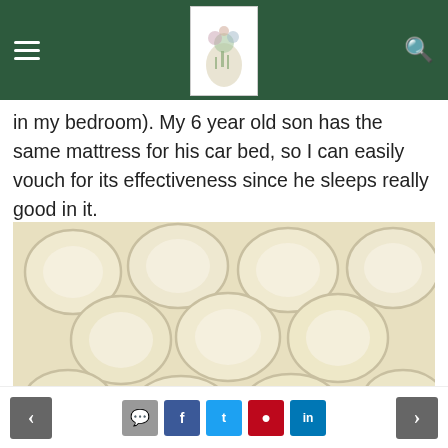Navigation header with hamburger menu, logo, and search icon
in my bedroom). My 6 year old son has the same mattress for his car bed, so I can easily vouch for its effectiveness since he sleeps really good in it.
[Figure (photo): Close-up photograph of a quilted mattress surface with hexagonal/circular tufted pattern in cream/ivory color. Watermark reads 'To the Motherhood'.]
Starting at $599, Naturepedic also offers twin, full, queen size mattresses. I'm in a slightly dire need of a
Navigation footer with previous/next buttons and social share icons: comment, Facebook, Twitter, Pinterest, LinkedIn